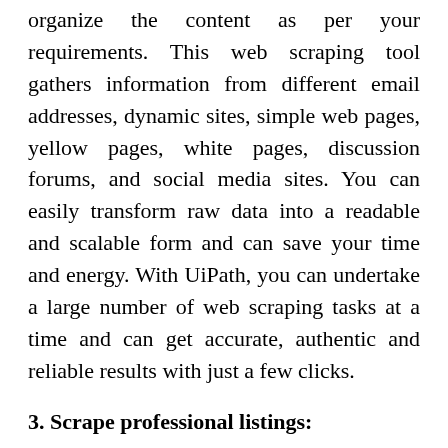organize the content as per your requirements. This web scraping tool gathers information from different email addresses, dynamic sites, simple web pages, yellow pages, white pages, discussion forums, and social media sites. You can easily transform raw data into a readable and scalable form and can save your time and energy. With UiPath, you can undertake a large number of web scraping tasks at a time and can get accurate, authentic and reliable results with just a few clicks.
3. Scrape professional listings:
Another advantage of UiPath is that it can scrape